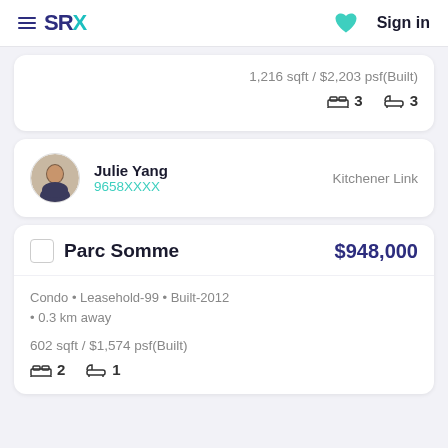SRX — Sign in
1,216 sqft / $2,203 psf(Built)
3 bedrooms  3 bathrooms
Julie Yang  9658XXXX  Kitchener Link
Parc Somme  $948,000
Condo • Leasehold-99 • Built-2012 • 0.3 km away
602 sqft / $1,574 psf(Built)
2 bedrooms  1 bathroom